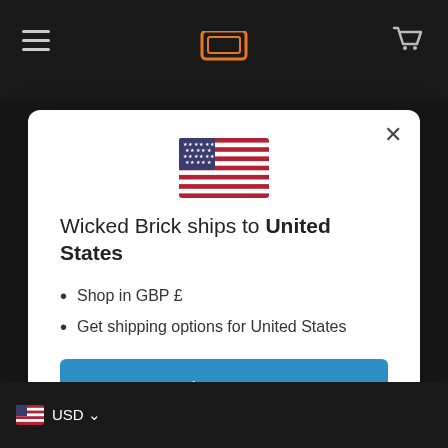[Figure (screenshot): Wicked Brick e-commerce website header with dark background, hamburger menu, logo, and cart icon]
[Figure (illustration): US flag emoji/icon centered in modal]
Wicked Brick ships to United States
Shop in GBP £
Get shipping options for United States
Shop now
Change shipping country
[Figure (screenshot): Bottom bar showing USD currency selector with US flag, and partial product images of toy cars]